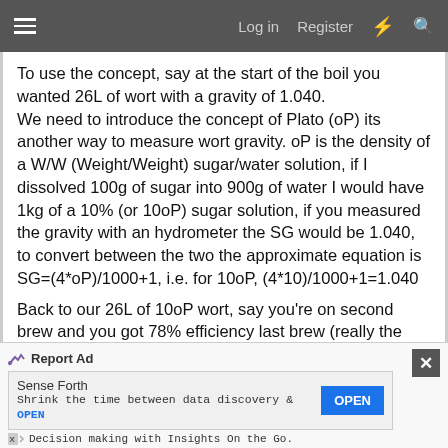≡  Log in  Register  ⚡  🔍
To use the concept, say at the start of the boil you wanted 26L of wort with a gravity of 1.040.
We need to introduce the concept of Plato (oP) its another way to measure wort gravity. oP is the density of a W/W (Weight/Weight) sugar/water solution, if I dissolved 100g of sugar into 900g of water I would have 1kg of a 10% (or 10oP) sugar solution, if you measured the gravity with an hydrometer the SG would be 1.040, to convert between the two the approximate equation is SG=(4*oP)/1000+1, i.e. for 10oP, (4*10)/1000+1=1.040
Back to our 26L of 10oP wort, say you're on second brew and you got 78% efficiency last brew (really the
Report Ad
Sense Forth
Shrink the time between data discovery &
Decision making with Insights On the Go.